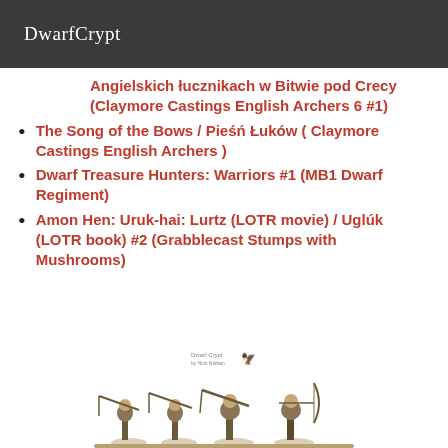DwarfCrypt
Angielskich łucznikach w Bitwie pod Crecy (Claymore Castings English Archers 6 #1)
The Song of the Bows / Pieśń Łuków ( Claymore Castings English Archers )
Dwarf Treasure Hunters: Warriors #1 (MB1 Dwarf Regiment)
Amon Hen: Uruk-hai: Lurtz (LOTR movie) / Uglúk (LOTR book) #2 (Grabblecast Stumps with Mushrooms)
[Figure (logo): Small DwarfCrypt logo with bird/dragon icon]
[Figure (photo): Miniature figurines of medieval archers with bows, painted and based]